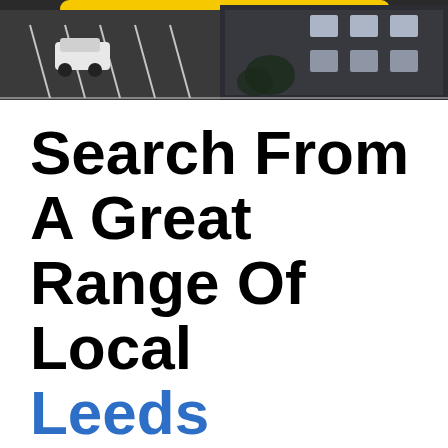[Figure (photo): Aerial/street view photograph showing a parking lot with a white car on the left and a dark stone building with windows on the right. A yellow banner/button is partially visible at the top.]
Search From A Great Range Of Local Leeds Businesses